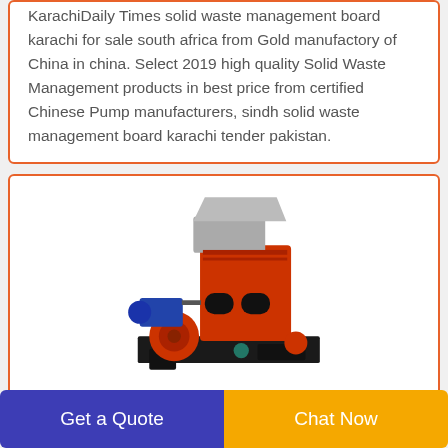KarachiDaily Times solid waste management board karachi for sale south africa from Gold manufactory of China in china. Select 2019 high quality Solid Waste Management products in best price from certified Chinese Pump manufacturers, sindh solid waste management board karachi tender pakistan.
[Figure (photo): Photo of an industrial waste management / shredding machine, red and black colored, with motors and wheels visible]
environmental-friendly wasted used how to
Get a Quote
Chat Now